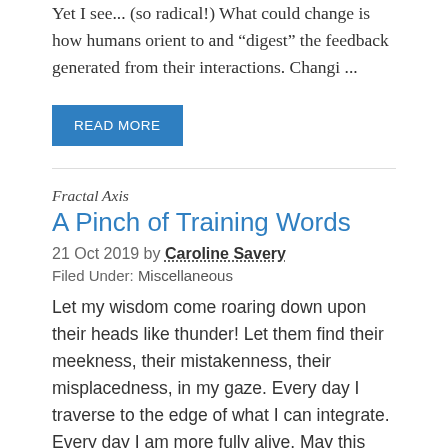Yet I see... (so radical!) What could change is how humans orient to and “digest” the feedback generated from their interactions. Changi ...
READ MORE
Fractal Axis
A Pinch of Training Words
21 Oct 2019 by Caroline Savery
Filed Under: Miscellaneous
Let my wisdom come roaring down upon their heads like thunder! Let them find their meekness, their mistakenness, their misplacedness, in my gaze. Every day I traverse to the edge of what I can integrate. Every day I am more fully alive. May this way be...